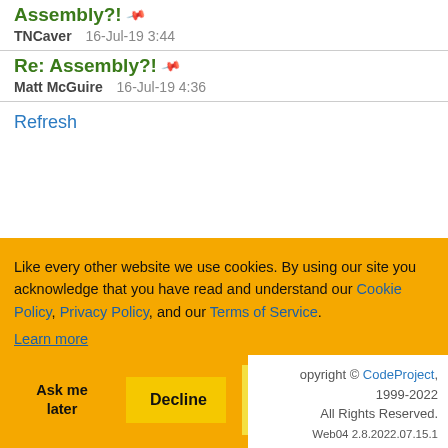Assembly?!
TNCaver   16-Jul-19 3:44
Re: Assembly?!
Matt McGuire   16-Jul-19 4:36
Refresh
Like every other website we use cookies. By using our site you acknowledge that you have read and understand our Cookie Policy, Privacy Policy, and our Terms of Service. Learn more
Ask me later   Decline   Allow cookies
Copyright © CodeProject, 1999-2022 All Rights Reserved. Web04 2.8.2022.07.15.1